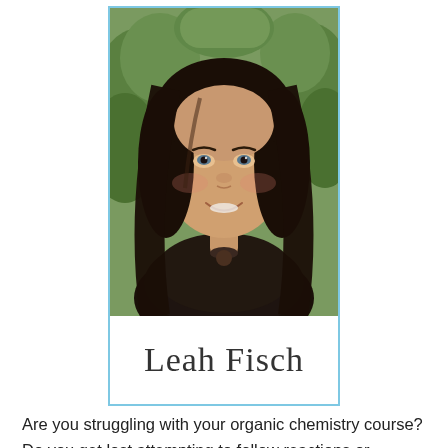[Figure (photo): Portrait photo of a young woman with long dark brown hair, smiling, outdoors with green foliage in the background. Photo is framed with a light blue border.]
Leah Fisch
Are you struggling with your organic chemistry course? Do you get lost attempting to follow reactions or mechanism details only to find yourself engaging in a losing battle of broken bonds and wandering electrons?